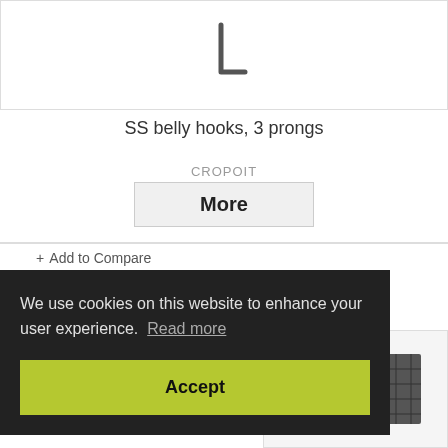[Figure (photo): L-shaped stainless steel belly hook with 3 prongs shown against white background]
SS belly hooks, 3 prongs
CROPOIT
More
+ Add to Compare
We use cookies on this website to enhance your user experience. Read more
Accept
[Figure (photo): Partially visible product image at bottom right]